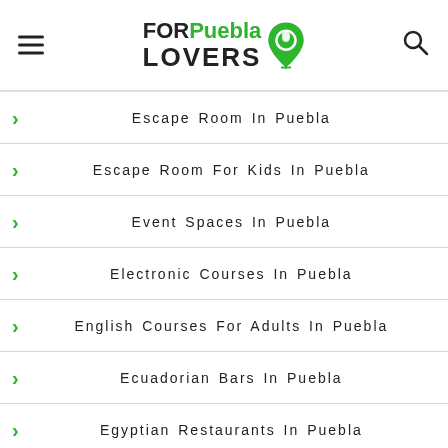[Figure (logo): FORPuebla LOVERS logo with green map pin icon]
Escape Room In Puebla
Escape Room For Kids In Puebla
Event Spaces In Puebla
Electronic Courses In Puebla
English Courses For Adults In Puebla
Ecuadorian Bars In Puebla
Egyptian Restaurants In Puebla
Elegant Restaurants In Puebla